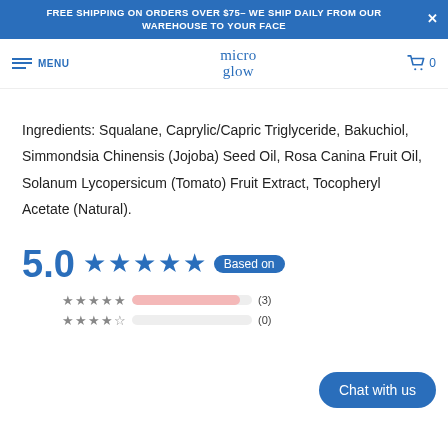FREE SHIPPING ON ORDERS OVER $75– WE SHIP DAILY FROM OUR WAREHOUSE TO YOUR FACE
micro glow — MENU — cart 0
Ingredients: Squalane, Caprylic/Capric Triglyceride, Bakuchiol, Simmondsia Chinensis (Jojoba) Seed Oil, Rosa Canina Fruit Oil, Solanum Lycopersicum (Tomato) Fruit Extract, Tocopheryl Acetate (Natural).
5.0 ★★★★★ Based on [3] reviews
5 stars (3), 4 stars (0)
Chat with us